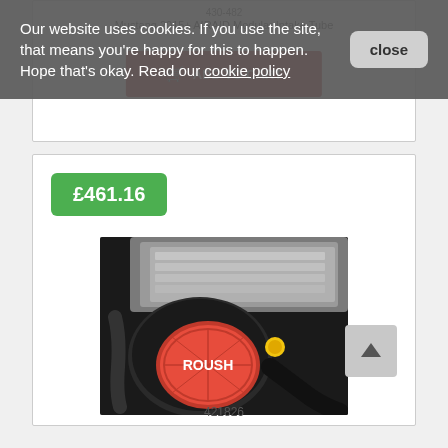Our website uses cookies. If you use the site, that means you're happy for this to happen. Hope that's okay. Read our cookie policy
close
430-482
Mustang 2015+ AIRAID Modular Intake Tube
ADD TO CART
£461.16
[Figure (photo): Engine bay photo showing a ROUSH branded cold air intake with pink/red filter installed in a Mustang engine bay]
421826